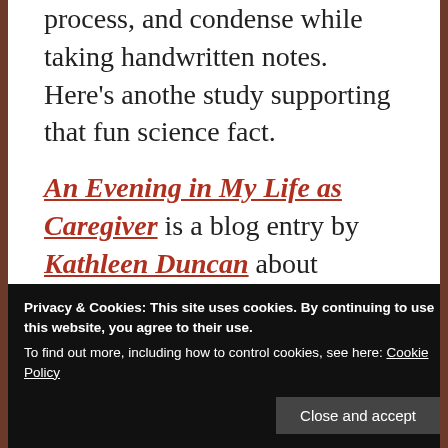process, and condense while taking handwritten notes. Here's anothe study supporting that fun science fact.
An Evening in My Life as Caregiver is a blog entry by Kathleen Duncan about providing care for her stepmother with Alzheimer's. It is an honest portrayal of all the little foibles that can build up in the course of caring for somebody all
for my tastes — see the I'm not a racist
Privacy & Cookies: This site uses cookies. By continuing to use this website, you agree to their use.
To find out more, including how to control cookies, see here: Cookie Policy